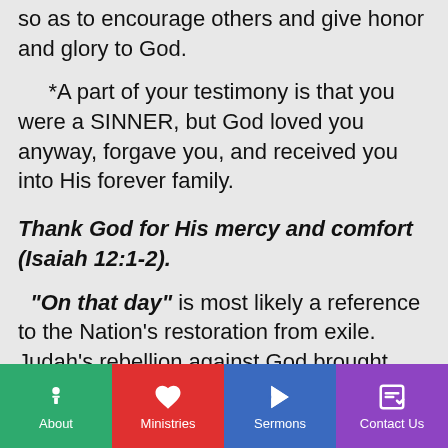so as to encourage others and give honor and glory to God.
*A part of your testimony is that you were a SINNER, but God loved you anyway, forgave you, and received you into His forever family.
Thank God for His mercy and comfort (Isaiah 12:1-2).
“On that day” is most likely a reference to the Nation’s restoration from exile. Judah’s rebellion against God brought God’s judgment resulting in their captivity to Babylon (70 years). At the end of the 70 years,
About | Ministries | Sermons | Contact Us